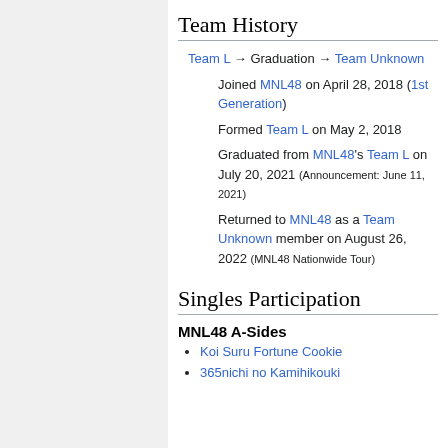Team History
Team L → Graduation → Team Unknown
Joined MNL48 on April 28, 2018 (1st Generation)
Formed Team L on May 2, 2018
Graduated from MNL48's Team L on July 20, 2021 (Announcement: June 11, 2021)
Returned to MNL48 as a Team Unknown member on August 26, 2022 (MNL48 Nationwide Tour)
Singles Participation
MNL48 A-Sides
Koi Suru Fortune Cookie
365nichi no Kamihikouki